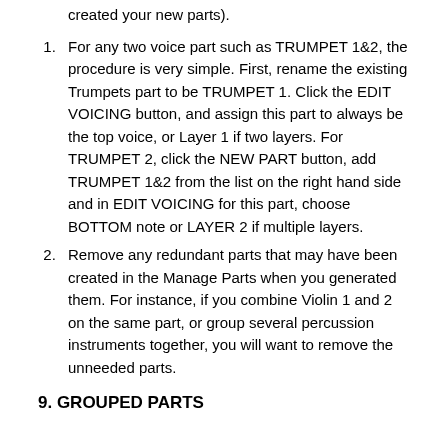created your new parts).
For any two voice part such as TRUMPET 1&2, the procedure is very simple. First, rename the existing Trumpets part to be TRUMPET 1. Click the EDIT VOICING button, and assign this part to always be the top voice, or Layer 1 if two layers. For TRUMPET 2, click the NEW PART button, add TRUMPET 1&2 from the list on the right hand side and in EDIT VOICING for this part, choose BOTTOM note or LAYER 2 if multiple layers.
Remove any redundant parts that may have been created in the Manage Parts when you generated them. For instance, if you combine Violin 1 and 2 on the same part, or group several percussion instruments together, you will want to remove the unneeded parts.
9. GROUPED PARTS